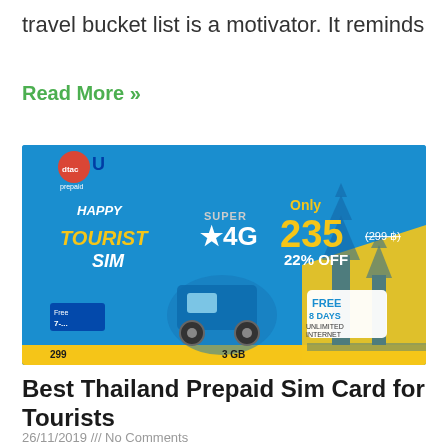travel bucket list is a motivator. It reminds
Read More »
[Figure (photo): Advertisement banner for DTAC Happy Tourist SIM card — Super 4G, Only 235 (299 ฿), 22% OFF, Free 8 Days Unlimited Internet, 3 GB, blue background with Bangkok temples silhouette and tuk-tuk]
Best Thailand Prepaid Sim Card for Tourists
26/11/2019 /// No Comments